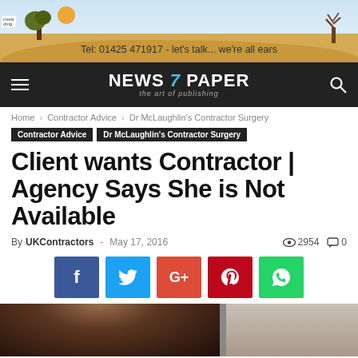[Figure (illustration): Banner advertisement with trees and landscape, text reads: Tel: 01425 471917 - let's talk... we're all ears]
NEWS 7 PAPER - the art of publishing
Home › Contractor Advice › Dr McLaughlin's Contractor Surgery
Contractor Advice   Dr McLaughlin's Contractor Surgery
Client wants Contractor | Agency Says She is Not Available
By UKContractors - May 17, 2016   2954   0
[Figure (illustration): Social media share buttons: Facebook, Twitter, Google+, Pinterest, WhatsApp]
[Figure (photo): Partial article image at bottom, showing dark silhouette/figure on left and light grey section on right]